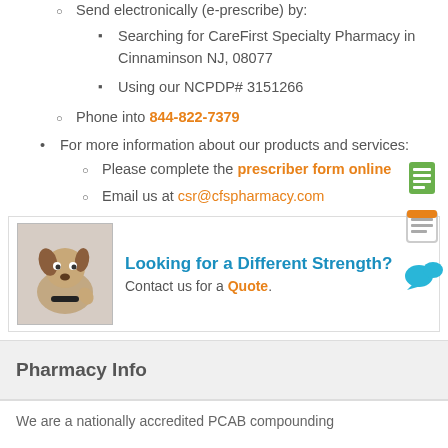Send electronically (e-prescribe) by:
Searching for CareFirst Specialty Pharmacy in Cinnaminson NJ, 08077
Using our NCPDP# 3151266
Phone into 844-822-7379
For more information about our products and services:
Please complete the prescriber form online
Email us at csr@cfspharmacy.com
Looking for a Different Strength? Contact us for a Quote.
Pharmacy Info
We are a nationally accredited PCAB compounding